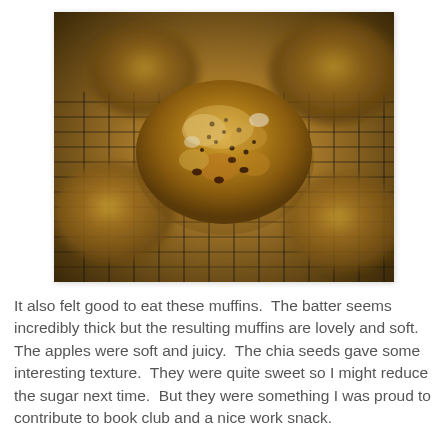[Figure (photo): Close-up photograph of golden-brown baked muffins with chia seeds and chunky mix-ins, sitting on a dark wire cooling rack. The central muffin is in sharp focus with others blurred in background.]
It also felt good to eat these muffins.  The batter seems incredibly thick but the resulting muffins are lovely and soft.  The apples were soft and juicy.  The chia seeds gave some interesting texture.  They were quite sweet so I might reduce the sugar next time.  But they were something I was proud to contribute to book club and a nice work snack.